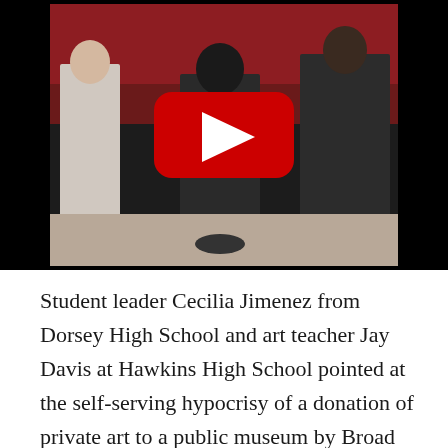[Figure (screenshot): A YouTube video thumbnail showing a group of people gathered outdoors, with a large red YouTube play button overlay in the center. The background is black letterbox.]
Student leader Cecilia Jimenez from Dorsey High School and art teacher Jay Davis at Hawkins High School pointed at the self-serving hypocrisy of a donation of private art to a public museum by Broad when defeating Prop 30 would've meant no funding for arts instruction in any California public